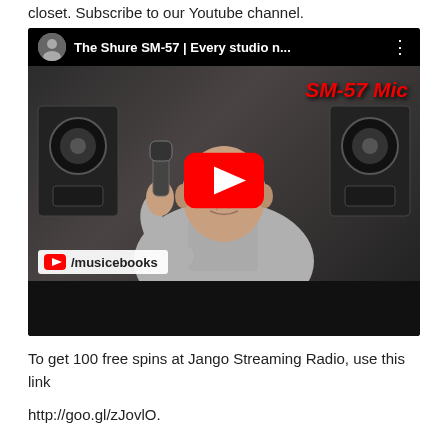closet. Subscribe to our Youtube channel.
[Figure (screenshot): YouTube video thumbnail showing a man in a recording studio holding a microphone. Title reads 'The Shure SM-57 | Every studio n...' with 'SM-57 Mic' in red text. YouTube play button overlay visible. Channel badge shows '/musicebooks'.]
To get 100 free spins at Jango Streaming Radio, use this link
http://goo.gl/zJovlO.